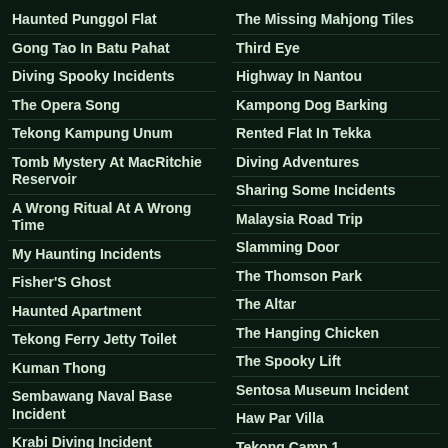Haunted Punggol Flat
Gong Tao In Batu Pahat
Diving Spooky Incidents
The Opera Song
Tekong Kampung Unum
Tomb Mystery At MacRitchie Reservoir
A Wrong Ritual At A Wrong Time
My Haunting Incidents
Fisher'S Ghost
Haunted Apartment
Tekong Ferry Jetty Toilet
Kuman Thong
Sembawang Naval Base Incident
Krabi Diving Incident
The Missing Mahjong Tiles
Third Eye
Highway In Nantou
Kampong Dog Barking
Rented Flat In Tekka
Diving Adventures
Sharing Some Incidents
Malaysia Road Trip
Slamming Door
The Thomson Park
The Altar
The Hanging Chicken
The Spooky Lift
Sentosa Museum Incident
Haw Par Villa
Tekong Camp 1